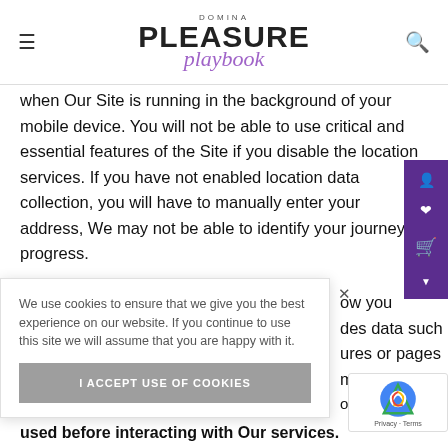DOMINA PLEASURE playbook
when Our Site is running in the background of your mobile device. You will not be able to use critical and essential features of the Site if you disable the location services. If you have not enabled location data collection, you will have to manually enter your address, We may not be able to identify your journey progress.
ow you des data such ures or pages m acti or ser used before interacting with Our services.
We use cookies to ensure that we give you the best experience on our website. If you continue to use this site we will assume that you are happy with it.
I ACCEPT USE OF COOKIES